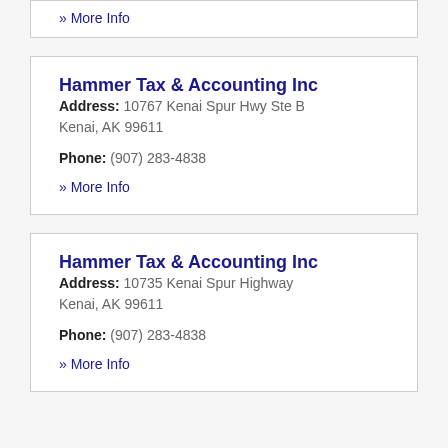» More Info
Hammer Tax & Accounting Inc
Address: 10767 Kenai Spur Hwy Ste B Kenai, AK 99611
Phone: (907) 283-4838
» More Info
Hammer Tax & Accounting Inc
Address: 10735 Kenai Spur Highway Kenai, AK 99611
Phone: (907) 283-4838
» More Info